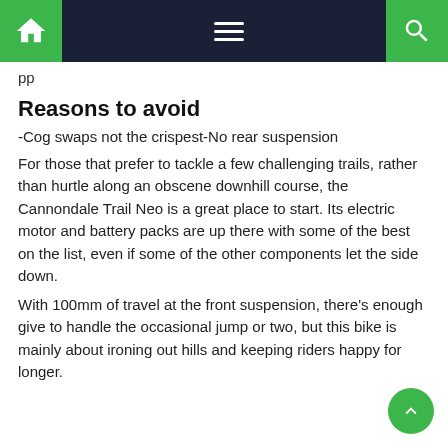Navigation bar with home, menu, and search icons
pp
Reasons to avoid
-Cog swaps not the crispest-No rear suspension
For those that prefer to tackle a few challenging trails, rather than hurtle along an obscene downhill course, the Cannondale Trail Neo is a great place to start. Its electric motor and battery packs are up there with some of the best on the list, even if some of the other components let the side down.
With 100mm of travel at the front suspension, there’s enough give to handle the occasional jump or two, but this bike is mainly about ironing out hills and keeping riders happy for longer.